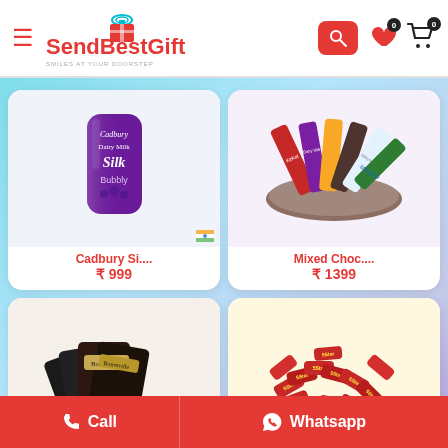SendBestGift - Smiles At Your Doorstep
[Figure (photo): Cadbury Dairy Milk Silk Bubbly chocolate bar in purple packaging]
Cadbury Si....
₹ 999
[Figure (photo): Mixed chocolate hamper basket with various chocolate bars including Milkybar]
Mixed Choc....
₹ 1399
[Figure (photo): Bournville dark chocolate bars fanned out]
Bournville....
[Figure (photo): 5 Star chocolate bars arranged in a bowl]
5 Star Cho....
₹ 899
Call | Whatsapp